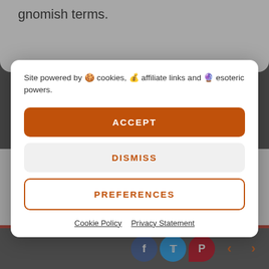gnomish terms.
Site powered by 🍪 cookies, 💰 affiliate links and 🔮 esoteric powers.
ACCEPT
DISMISS
PREFERENCES
Cookie Policy   Privacy Statement
humans. By accident or design as the supplement describes how a gnome community bands together to look after the